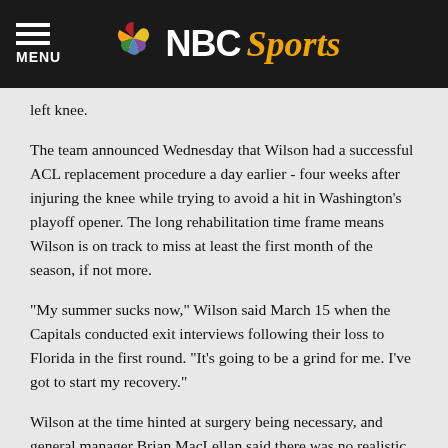NBC Sports
left knee.
The team announced Wednesday that Wilson had a successful ACL replacement procedure a day earlier - four weeks after injuring the knee while trying to avoid a hit in Washington's playoff opener. The long rehabilitation time frame means Wilson is on track to miss at least the first month of the season, if not more.
"My summer sucks now," Wilson said March 15 when the Capitals conducted exit interviews following their loss to Florida in the first round. "It's going to be a grind for me. I've got to start my recovery."
Wilson at the time hinted at surgery being necessary, and general manager Brian MacLellan said there was no realistic chance of the 28-year-old returning to the lineup during the Panthers series. With questions about veteran center Nicklas Backstrom's future because of a nagging hip injury, losing Wilson for potentially 20-plus games is a blow to the organization that hasn't advanced in the playoffs since winning the Stanley Cup in 2018.
Without Wilson, the Capitals bowed out in six games to Presidents' Trophy-winning Florida, which was swept in the second round by back-to-back defending champion Tampa Bay. They lacked his unique blend of physical presence and offensive ability in